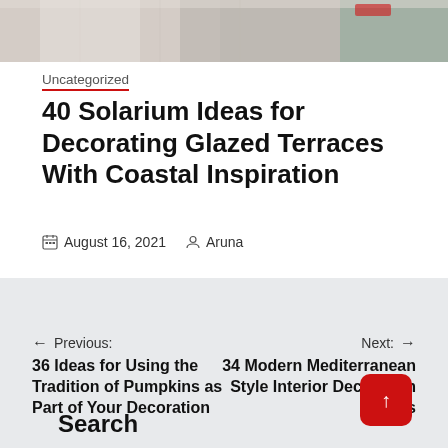[Figure (photo): Top portion of an interior/terrace photo, cropped at top of page]
Uncategorized
40 Solarium Ideas for Decorating Glazed Terraces With Coastal Inspiration
August 16, 2021  Aruna
← Previous: 36 Ideas for Using the Tradition of Pumpkins as Part of Your Decoration
Next: → 34 Modern Mediterranean Style Interior Decoration Ideas
Search